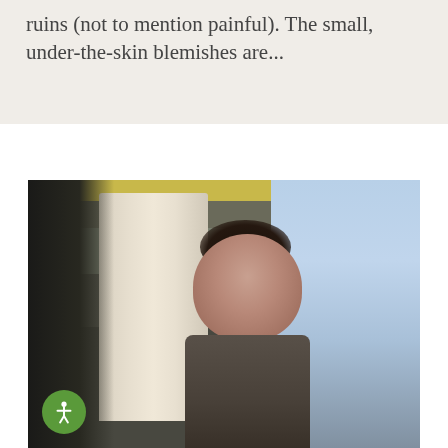ruins (not to mention painful). The small, under-the-skin blemishes are...
[Figure (photo): A young woman with dark hair in a bun stands in a bathroom near a shower with white curtain and tiled walls. Yellow ceiling visible at top. Window with blue-white light on the right side. She wears a dark tank top and looks to the side. An accessibility icon button is visible in the lower-left corner of the image.]